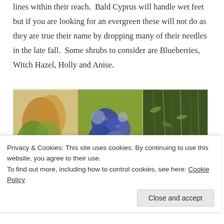lines within their reach.  Bald Cyprus will handle wet feet but if you are looking for an evergreen these will not do as they are true their name by dropping many of their needles in the late fall.  Some shrubs to consider are Blueberries, Witch Hazel, Holly and Anise.
[Figure (photo): Three side-by-side images showing shrubs: a botanical illustration of Witch Hazel leaves and flowers, a close-up photo of Blueberries on a branch, and a photo of Anise/green foliage. The Blueberries panel has a label 'Blueberries' overlaid at the bottom.]
Privacy & Cookies: This site uses cookies. By continuing to use this website, you agree to their use.
To find out more, including how to control cookies, see here: Cookie Policy